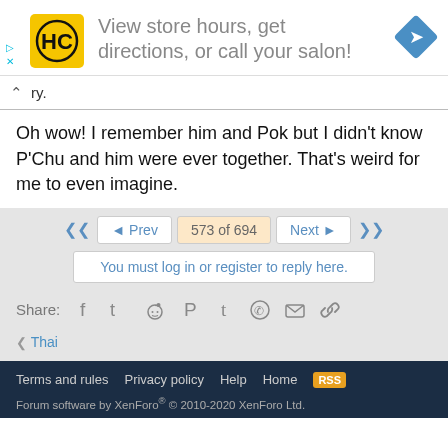[Figure (infographic): Advertisement banner with yellow HC logo, text 'View store hours, get directions, or call your salon!' and a blue diamond navigation icon. Small play and X controls at lower left.]
ry.
Oh wow! I remember him and Pok but I didn't know P'Chu and him were ever together. That's weird for me to even imagine.
◄◄  ◄ Prev  573 of 694  Next ►  ►►
You must log in or register to reply here.
Share:  Facebook  Twitter  Reddit  Pinterest  Tumblr  WhatsApp  Email  Link
< Thai
Terms and rules  Privacy policy  Help  Home  RSS
Forum software by XenForo® © 2010-2020 XenForo Ltd.